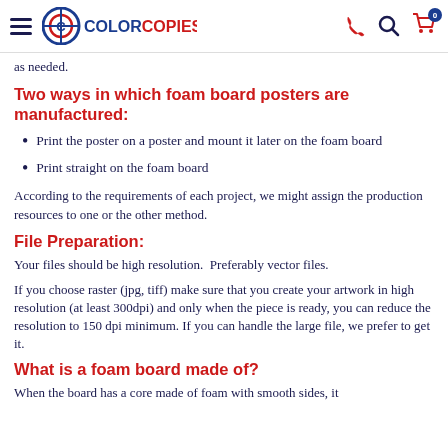ColorCopiesUSA
as needed.
Two ways in which foam board posters are manufactured:
Print the poster on a poster and mount it later on the foam board
Print straight on the foam board
According to the requirements of each project, we might assign the production resources to one or the other method.
File Preparation:
Your files should be high resolution.  Preferably vector files.
If you choose raster (jpg, tiff) make sure that you create your artwork in high resolution (at least 300dpi) and only when the piece is ready, you can reduce the resolution to 150 dpi minimum. If you can handle the large file, we prefer to get it.
What is a foam board made of?
When the board has a core made of foam with smooth sides, it